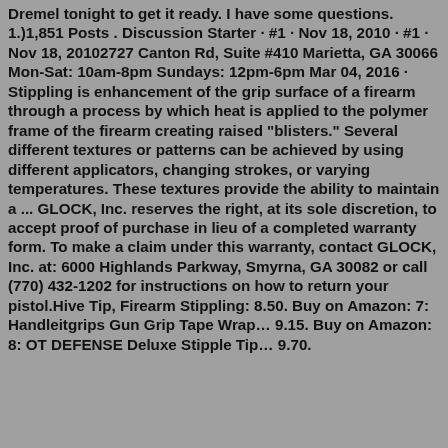Dremel tonight to get it ready. I have some questions. 1.)1,851 Posts . Discussion Starter · #1 · Nov 18, 2010 · #1 · Nov 18, 20102727 Canton Rd, Suite #410 Marietta, GA 30066 Mon-Sat: 10am-8pm Sundays: 12pm-6pm Mar 04, 2016 · Stippling is enhancement of the grip surface of a firearm through a process by which heat is applied to the polymer frame of the firearm creating raised "blisters." Several different textures or patterns can be achieved by using different applicators, changing strokes, or varying temperatures. These textures provide the ability to maintain a ... GLOCK, Inc. reserves the right, at its sole discretion, to accept proof of purchase in lieu of a completed warranty form. To make a claim under this warranty, contact GLOCK, Inc. at: 6000 Highlands Parkway, Smyrna, GA 30082 or call (770) 432-1202 for instructions on how to return your pistol.Hive Tip, Firearm Stippling: 8.50. Buy on Amazon: 7: Handleitgrips Gun Grip Tape Wrap… 9.15. Buy on Amazon: 8: OT DEFENSE Deluxe Stipple Tip… 9.70.